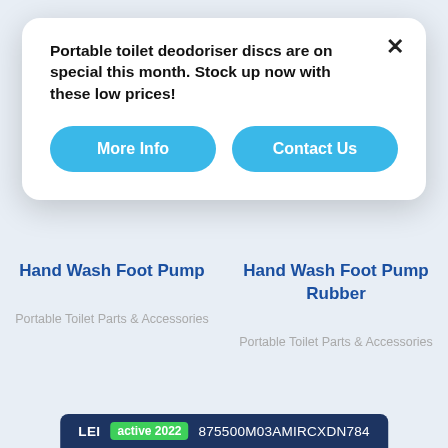Portable toilet deodoriser discs are on special this month. Stock up now with these low prices!
More Info
Contact Us
Hand Wash Foot Pump
Portable Toilet Parts & Accessories
Hand Wash Foot Pump Rubber
Portable Toilet Parts & Accessories
LEI active 2022 875500M03AMIRCXDN784